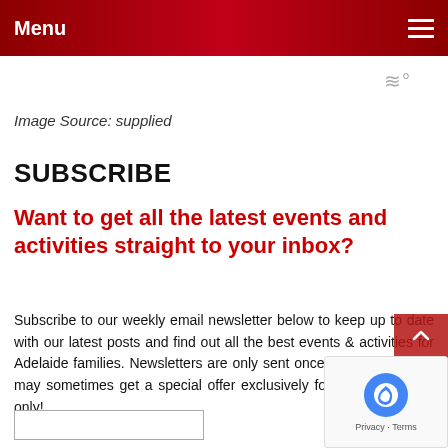Menu
[Figure (other): Weather/temperature icon showing wavy lines with degree symbol]
Image Source: supplied
SUBSCRIBE
Want to get all the latest events and activities straight to your inbox?
Subscribe to our weekly email newsletter below to keep up to date with our latest posts and find out all the best events & activities for Adelaide families. Newsletters are only sent once a week, and you may sometimes get a special offer exclusively for our subscribers only!